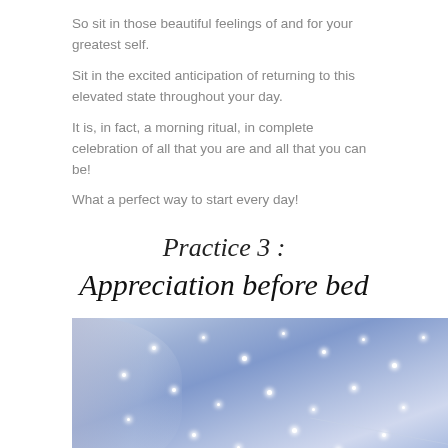So sit in those beautiful feelings of and for your greatest self.
Sit in the excited anticipation of returning to this elevated state throughout your day.
It is, in fact, a morning ritual, in complete celebration of all that you are and all that you can be!
What a perfect way to start every day!
Practice 3 :
Appreciation before bed
[Figure (photo): A dreamy bedroom scene with sheer curtains, decorative string lights/fairy lights, and hanging tassel decorations, rendered in blue and white tones.]